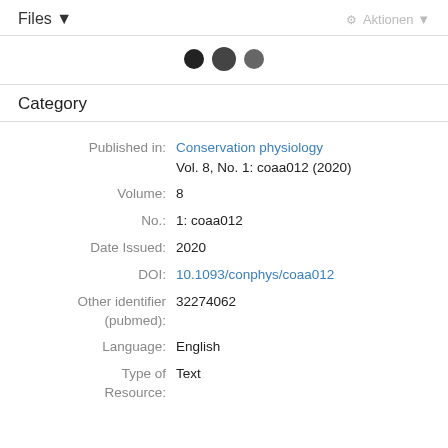Files ▼    ⚙ Aktionen ▼
[Figure (other): Three dark circles (pagination dots), middle one slightly larger]
Category
Published in: Conservation physiology Vol. 8, No. 1: coaa012 (2020)
Volume: 8
No.: 1: coaa012
Date Issued: 2020
DOI: 10.1093/conphys/coaa012
Other identifier (pubmed): 32274062
Language: English
Type of Resource: Text